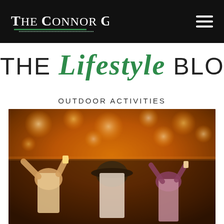The Connor Group
THE Lifestyle BLOG
OUTDOOR ACTIVITIES
[Figure (photo): Outdoor festival crowd scene with people raising hands and drinks, warm bokeh lights in background]